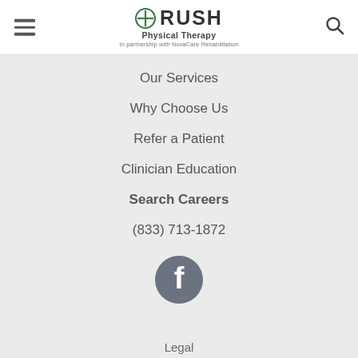[Figure (logo): RUSH Physical Therapy logo with circular icon, bold RUSH text, 'Physical Therapy' subtitle, and 'In partnership with NovaCare Rehabilitation' tagline]
Our Services
Why Choose Us
Refer a Patient
Clinician Education
Search Careers
(833) 713-1872
[Figure (logo): Facebook circular icon in dark grey]
Legal